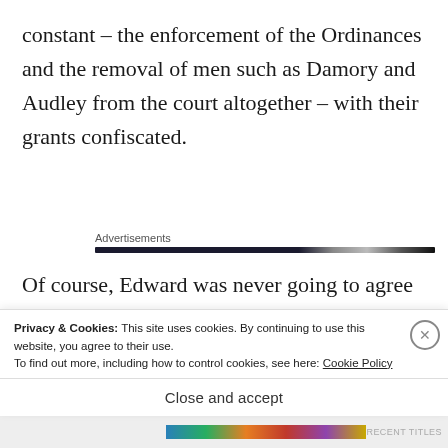constant – the enforcement of the Ordinances and the removal of men such as Damory and Audley from the court altogether – with their grants confiscated.
Advertisements
Of course, Edward was never going to agree to that and so the negotiations continued, the arguments going b[ack and forth. Eventually...]
Privacy & Cookies: This site uses cookies. By continuing to use this website, you agree to their use.
To find out more, including how to control cookies, see here: Cookie Policy
Close and accept